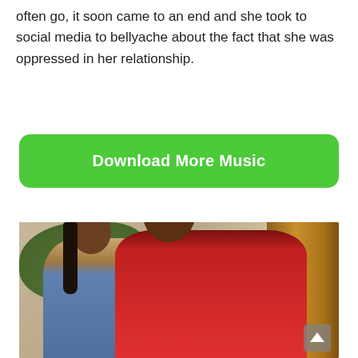often go, it soon came to an end and she took to social media to bellyache about the fact that she was oppressed in her relationship.
[Figure (other): Green rounded rectangle button with white text reading 'Download More Music']
[Figure (photo): Photo of a woman in a blue outfit with long dark braids standing behind a man in a red shirt, outdoors near a building with trees in background]